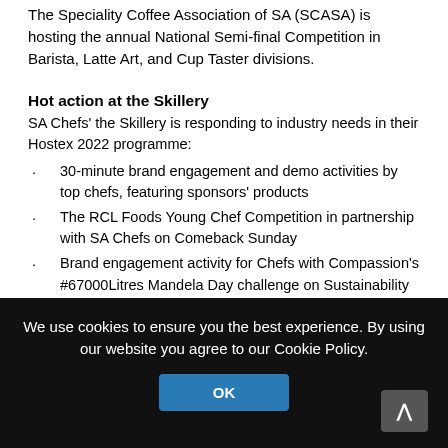The Speciality Coffee Association of SA (SCASA) is hosting the annual National Semi-final Competition in Barista, Latte Art, and Cup Taster divisions.
Hot action at the Skillery
SA Chefs' the Skillery is responding to industry needs in their Hostex 2022 programme:
30-minute brand engagement and demo activities by top chefs, featuring sponsors' products
The RCL Foods Young Chef Competition in partnership with SA Chefs on Comeback Sunday
Brand engagement activity for Chefs with Compassion's #67000Litres Mandela Day challenge on Sustainability Monday
A showdown in the City Lodge Hotel Group cook-off between top chefs, Trevor Boyd and Keegan Maistry, and a chocolate art Chef Showcase on Technology Tuesday
The Skillery's programme closes with the announcement of the recipient of the Bryan Montgomery Bursary Fund
We use cookies to ensure you the best experience. By using our website you agree to our Cookie Policy.